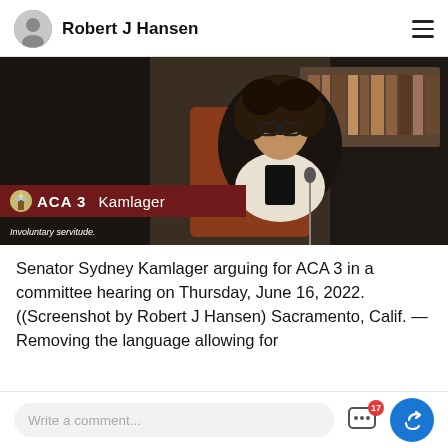Robert J Hansen
[Figure (screenshot): Video screenshot of Senator Sydney Kamlager speaking at a committee hearing. Lower third graphic shows 'ACA 3 Kamlager' on a dark red banner with a Capitol building logo. Subtitle reads 'Involuntary servitude.']
Senator Sydney Kamlager arguing for ACA 3 in a committee hearing on Thursday, June 16, 2022. ((Screenshot by Robert J Hansen) Sacramento, Calif. — Removing the language allowing for